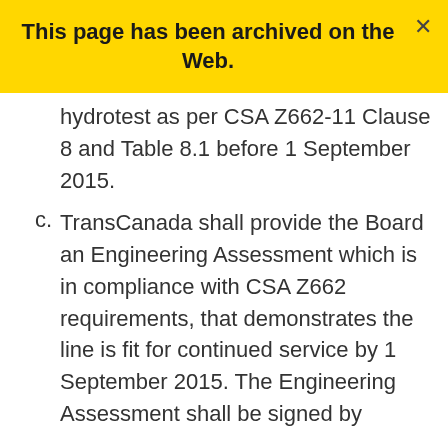This page has been archived on the Web.
hydrotest as per CSA Z662-11 Clause 8 and Table 8.1 before 1 September 2015.
TransCanada shall provide the Board an Engineering Assessment which is in compliance with CSA Z662 requirements, that demonstrates the line is fit for continued service by 1 September 2015. The Engineering Assessment shall be signed by